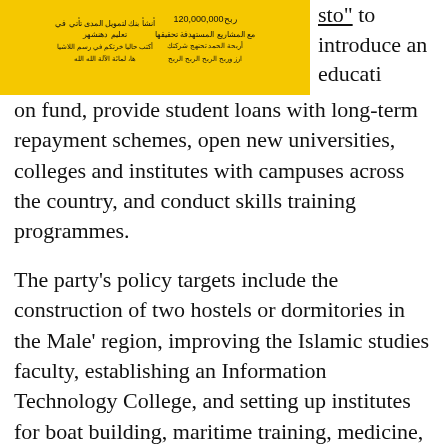[Figure (other): Yellow background document image with Arabic text and numbers including 120,000,000]
sto" to introduce an education fund, provide student loans with long-term repayment schemes, open new universities, colleges and institutes with campuses across the country, and conduct skills training programmes.
The party's policy targets include the construction of two hostels or dormitories in the Male' region, improving the Islamic studies faculty, establishing an Information Technology College, and setting up institutes for boat building, maritime training, medicine, fisheries and sports under public-private partnership (PPP) projects.
Other targets include inaugurating an education savings scheme with the government to match